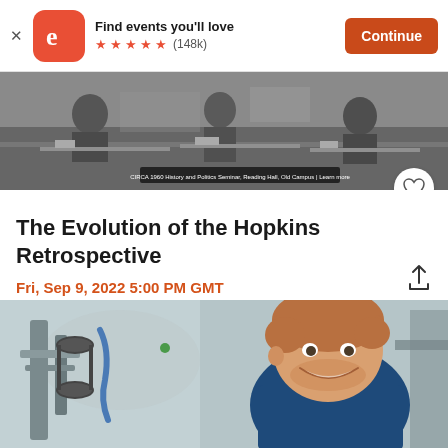[Figure (screenshot): Eventbrite app banner: orange rounded square logo with white 'e', text 'Find events you'll love', 5 orange stars, (148k) review count, orange 'Continue' button, X close button]
[Figure (photo): Black and white historical photo of people working at desks, possibly engineers or scientists in an office setting circa 1960]
The Evolution of the Hopkins Retrospective
Fri, Sep 9, 2022 5:00 PM GMT
[Figure (photo): Color photo of a smiling man with reddish-blond hair and beard working with industrial machinery in a factory or lab setting]